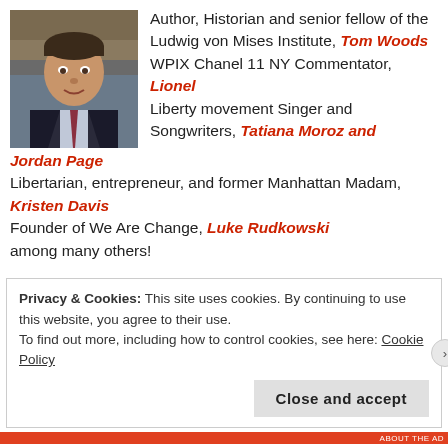[Figure (photo): Headshot photo of a man in a suit and tie, smiling, with bookshelves in background]
Author, Historian and senior fellow of the Ludwig von Mises Institute, Tom Woods
WPIX Chanel 11 NY Commentator, Lionel
Liberty movement Singer and Songwriters, Tatiana Moroz and
Jordan Page
Libertarian, entrepreneur, and former Manhattan Madam, Kristen Davis
Founder of We Are Change, Luke Rudkowski
among many others!
Privacy & Cookies: This site uses cookies. By continuing to use this website, you agree to their use.
To find out more, including how to control cookies, see here: Cookie Policy
Close and accept